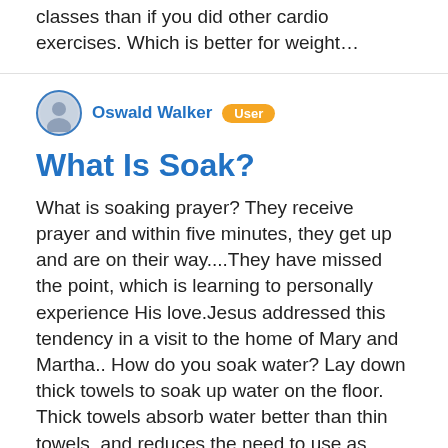classes than if you did other cardio exercises. Which is better for weight…
Oswald Walker  User
What Is Soak?
What is soaking prayer? They receive prayer and within five minutes, they get up and are on their way....They have missed the point, which is learning to personally experience His love.Jesus addressed this tendency in a visit to the home of Mary and Martha.. How do you soak water? Lay down thick towels to soak up water on the floor. Thick towels absorb water better than thin towels, and reduces the need to use as many towels to remove moisture. What does soaking mean sexually? 'Soaking' is supposedly a heterosexual sex act where there's penetration, but no movement, thus…